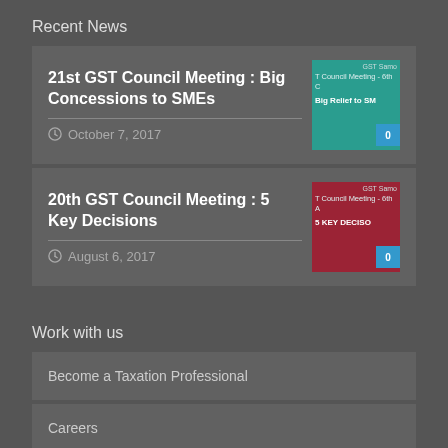Recent News
21st GST Council Meeting : Big Concessions to SMEs — October 7, 2017
20th GST Council Meeting : 5 Key Decisions — August 6, 2017
Work with us
Become a Taxation Professional
Careers
Calculate on the Go!
Get it on